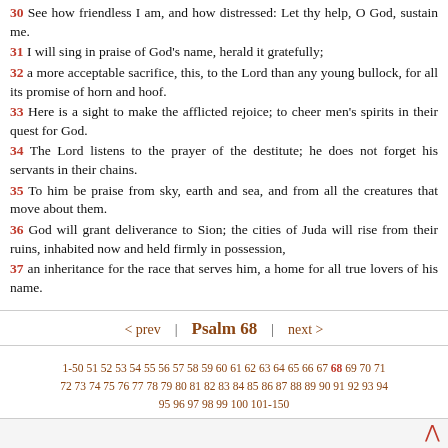30 See how friendless I am, and how distressed: Let thy help, O God, sustain me.
31 I will sing in praise of God’s name, herald it gratefully;
32 a more acceptable sacrifice, this, to the Lord than any young bullock, for all its promise of horn and hoof.
33 Here is a sight to make the afflicted rejoice; to cheer men’s spirits in their quest for God.
34 The Lord listens to the prayer of the destitute; he does not forget his servants in their chains.
35 To him be praise from sky, earth and sea, and from all the creatures that move about them.
36 God will grant deliverance to Sion; the cities of Juda will rise from their ruins, inhabited now and held firmly in possession,
37 an inheritance for the race that serves him, a home for all true lovers of his name.
< prev | Psalm 68 | next >
1-50 51 52 53 54 55 56 57 58 59 60 61 62 63 64 65 66 67 68 69 70 71 72 73 74 75 76 77 78 79 80 81 82 83 84 85 86 87 88 89 90 91 92 93 94 95 96 97 98 99 100 101-150